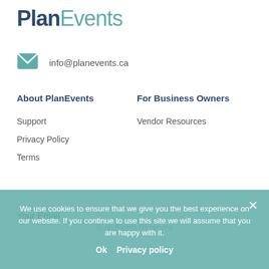PlanEvents
info@planevents.ca
About PlanEvents
Support
Privacy Policy
Terms
For Business Owners
Vendor Resources
Your Email
We use cookies to ensure that we give you the best experience on our website. If you continue to use this site we will assume that you are happy with it.
Ok   Privacy policy
© All Rights Reserved